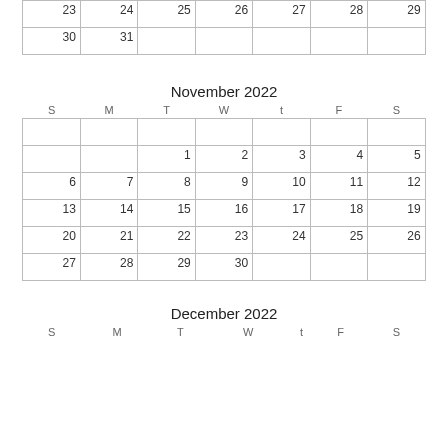| S | M | T | W | t | F | S |
| --- | --- | --- | --- | --- | --- | --- |
| 23 | 24 | 25 | 26 | 27 | 28 | 29 |
| 30 | 31 |  |  |  |  |  |
November 2022
| S | M | T | W | t | F | S |
| --- | --- | --- | --- | --- | --- | --- |
|  |  |  |  |  |  |  |
|  |  | 1 | 2 | 3 | 4 | 5 |
| 6 | 7 | 8 | 9 | 10 | 11 | 12 |
| 13 | 14 | 15 | 16 | 17 | 18 | 19 |
| 20 | 21 | 22 | 23 | 24 | 25 | 26 |
| 27 | 28 | 29 | 30 |  |  |  |
December 2022
| S | M | T | W | t | F | S |
| --- | --- | --- | --- | --- | --- | --- |